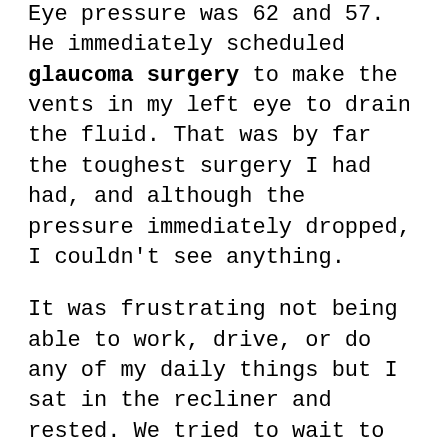Eye pressure was 62 and 57. He immediately scheduled glaucoma surgery to make the vents in my left eye to drain the fluid. That was by far the toughest surgery I had had, and although the pressure immediately dropped, I couldn't see anything.
It was frustrating not being able to work, drive, or do any of my daily things but I sat in the recliner and rested. We tried to wait to do the surgery on the right eye until after I got the vision back in my left eye, but we couldn't wait any longer. The pressure was steadily climbing. Dr. Godfrey decided to place a shunt in the right eye instead of making the vents. The shunt surgery was less invasive, and I would